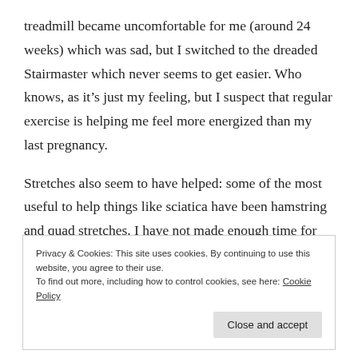treadmill became uncomfortable for me (around 24 weeks) which was sad, but I switched to the dreaded Stairmaster which never seems to get easier. Who knows, as it’s just my feeling, but I suspect that regular exercise is helping me feel more energized than my last pregnancy.
Stretches also seem to have helped: some of the most useful to help things like sciatica have been hamstring and quad stretches. I have not made enough time for formal yoga lessons, but have been doing my own mini-
Privacy & Cookies: This site uses cookies. By continuing to use this website, you agree to their use.
To find out more, including how to control cookies, see here: Cookie Policy
Close and accept